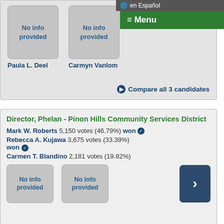en Español
≡ Menu
[Figure (other): No info provided candidate card for Paula L. Deel]
Paula L. Deel
[Figure (other): No info provided candidate card for Carmyn Vanlom]
Carmyn Vanlom
Compare all 3 candidates
Director, Phelan - Pinon Hills Community Services District
Mark W. Roberts  5,150 votes (46.79%)  won ✓
Rebecca A. Kujawa  3,675 votes (33.39%) won ✓
Carmen T. Blandino  2,181 votes (19.82%)
[Figure (other): No info provided candidate card]
[Figure (other): No info provided candidate card]
[Figure (other): Navigation arrow button (next)]